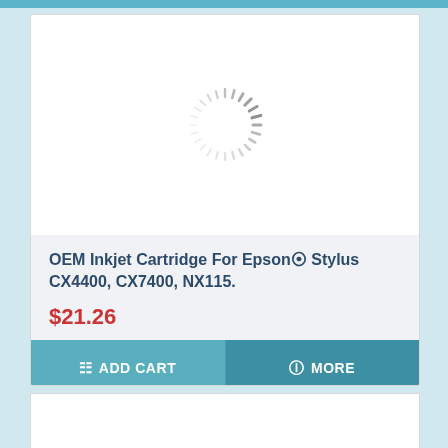[Figure (screenshot): Loading spinner animation (circular dashes arranged in a ring)]
OEM Inkjet Cartridge For Epson® Stylus CX4400, CX7400, NX115.
$21.26
ADD CART
MORE